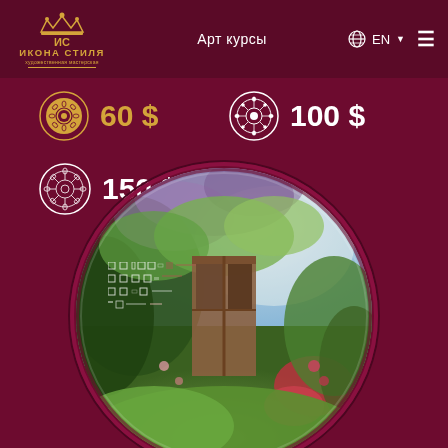Арт курсы | EN | ИКОНА СТИЛЯ художественная мастерская
60 $
100 $
150 $
[Figure (photo): Circular framed oil painting of a garden scene with a wooden door/window surrounded by blooming wisteria, roses and lush green foliage with a light blue sky background]